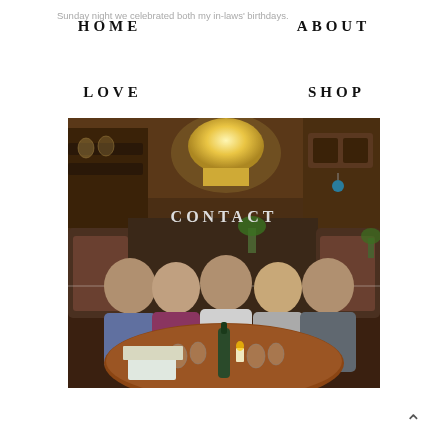HOME    ABOUT
Sunday night we celebrated both my in-laws' birthdays.
LOVE    SHOP
CONTACT
[Figure (photo): Five people seated at a round wooden restaurant table, smiling at the camera. The setting is a warm, dimly lit restaurant with booth seating and a large pendant lamp visible in the background. A wine bottle and glasses are on the table along with papers and a small box.]
^